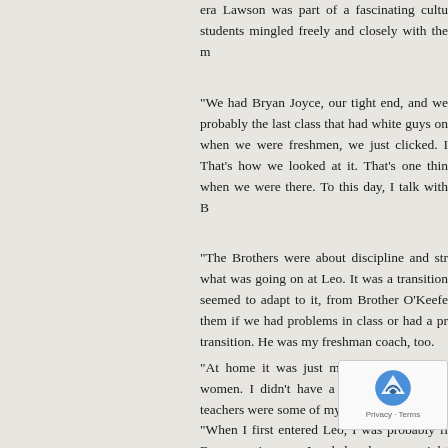era Lawson was part of a fascinating cultu students mingled freely and closely with the m
“We had Bryan Joyce, our tight end, and w probably the last class that had white guys o when we were freshmen, we just clicked. I That’s how we looked at it. That’s one thin when we were there. To this day, I talk with B
“The Brothers were about discipline and str what was going on at Leo. It was a transition seemed to adapt to it, from Brother O’Keefe them if we had problems in class or had a pr transition. He was my freshman coach, too.
“At home it was just my grandmother and women. I didn’t have a man in my life. A teachers were some of my male role models a
“When I first entered Leo, I was probably fi By my senior year, I ended up b some weight and definition. O already one of the leaders of the team. The